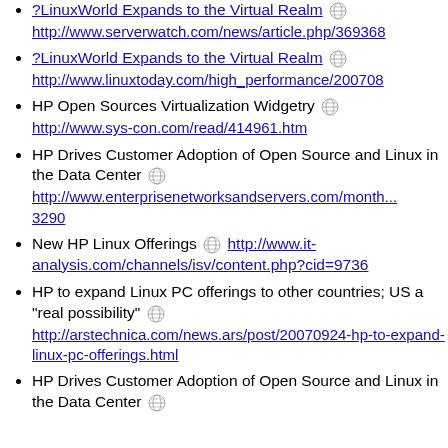?LinuxWorld Expands to the Virtual Realm http://www.serverwatch.com/news/article.php/36936...
?LinuxWorld Expands to the Virtual Realm http://www.linuxtoday.com/high_performance/200708...
HP Open Sources Virtualization Widgetry http://www.sys-con.com/read/414961.htm
HP Drives Customer Adoption of Open Source and Linux in the Data Center http://www.enterprisenetworksandservers.com/month...3290
New HP Linux Offerings http://www.it-analysis.com/channels/isv/content.php?cid=9736
HP to expand Linux PC offerings to other countries; US a "real possibility" http://arstechnica.com/news.ars/post/20070924-hp-to-expand-linux-pc-offerings.html
HP Drives Customer Adoption of Open Source and Linux in the Data Center